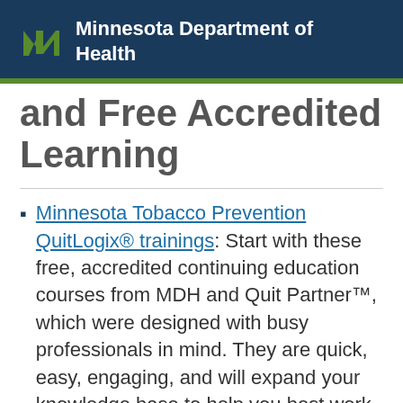Minnesota Department of Health
and Free Accredited Learning
Minnesota Tobacco Prevention QuitLogix® trainings: Start with these free, accredited continuing education courses from MDH and Quit Partner™, which were designed with busy professionals in mind. They are quick, easy, engaging, and will expand your knowledge base to help you best work with those who use commercial